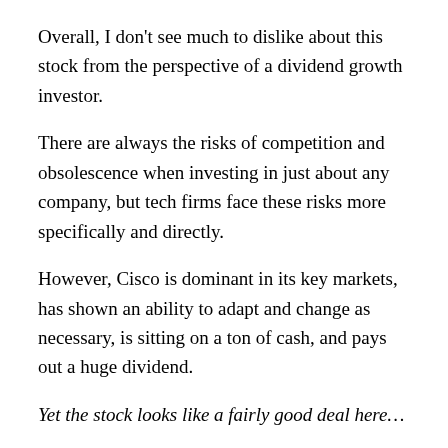Overall, I don't see much to dislike about this stock from the perspective of a dividend growth investor.
There are always the risks of competition and obsolescence when investing in just about any company, but tech firms face these risks more specifically and directly.
However, Cisco is dominant in its key markets, has shown an ability to adapt and change as necessary, is sitting on a ton of cash, and pays out a huge dividend.
Yet the stock looks like a fairly good deal here…
The stock is trading hands for a P/E ratio of 15.98 right now. While above the stock's own five-year average, that's well below both the broader market and the industry average. Plus, that's not even backing out the cash.